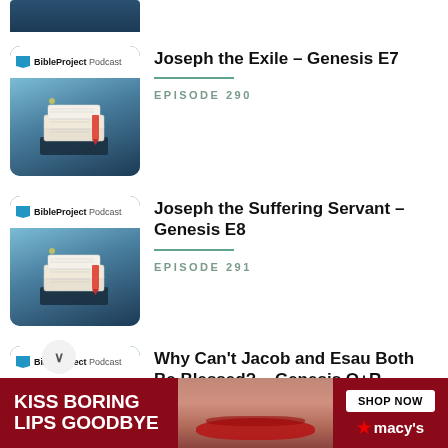[Figure (screenshot): Partial podcast thumbnail at top of page - BibleProject Podcast book art]
Joseph the Exile – Genesis E7
EPISODE 290
[Figure (screenshot): BibleProject Podcast thumbnail - book diagram illustration]
Joseph the Suffering Servant – Genesis E8
EPISODE 291
[Figure (screenshot): BibleProject Podcast thumbnail - book diagram illustration]
Why Can't Jacob and Esau Both Be Blessed? – Genesis Q+R
[Figure (screenshot): Advertisement banner: KISS BORING LIPS GOODBYE - SHOP NOW - macy's]